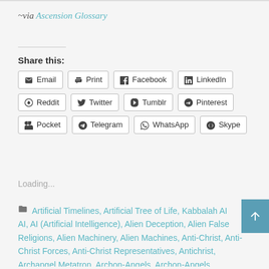~via Ascension Glossary
Share this:
[Figure (other): Social share buttons: Email, Print, Facebook, LinkedIn, Reddit, Twitter, Tumblr, Pinterest, Pocket, Telegram, WhatsApp, Skype]
Loading...
Artificial Timelines, Artificial Tree of Life, Kabbalah AI, AI (Artificial Intelligence), Alien Deception, Alien False Religions, Alien Machinery, Alien Machines, Anti-Christ, Anti-Christ Forces, Anti-Christ Representatives, Antichrist, Archangel Metatron, Archon-Angels, Archon-Angels (Archangels), Archon-gels, Ars Goetia Demon, Artificial Flower of Life, Artificial Intelligence, Artificial Intelligence (AI), Artificial